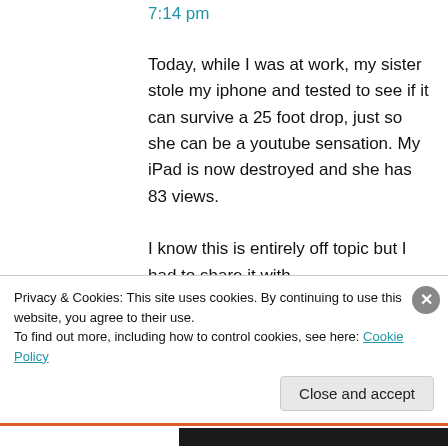7:14 pm
Today, while I was at work, my sister stole my iphone and tested to see if it can survive a 25 foot drop, just so she can be a youtube sensation. My iPad is now destroyed and she has 83 views.
I know this is entirely off topic but I had to share it with
someone!
★ Like
Privacy & Cookies: This site uses cookies. By continuing to use this website, you agree to their use.
To find out more, including how to control cookies, see here: Cookie Policy
Close and accept